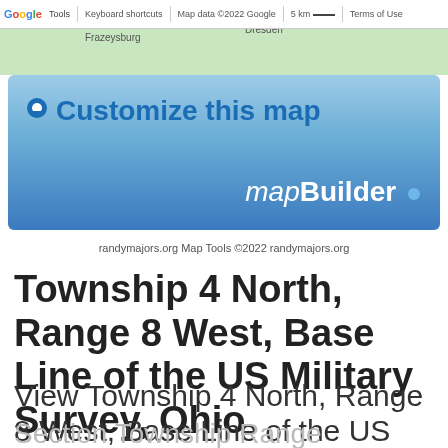[Figure (map): Google Maps screenshot showing area around Frazeysburg and Dresden, Ohio with map toolbar showing keyboard shortcuts, map data copyright 2022 Google, 5km scale, and Terms of Use]
[Figure (infographic): mapBuilder banner with blue gradient background, location pin icon, 'Customize this map' text in blue, and 'mapBuilder' branding with dot]
randymajors.org Map Tools ©2022 randymajors.org
Township 4 North, Range 8 West, Base Line of the US Military Survey, Ohio
View Township 4 North, Range 8 West, Base Line of the US Military Survey, Ohio
Section Township Range